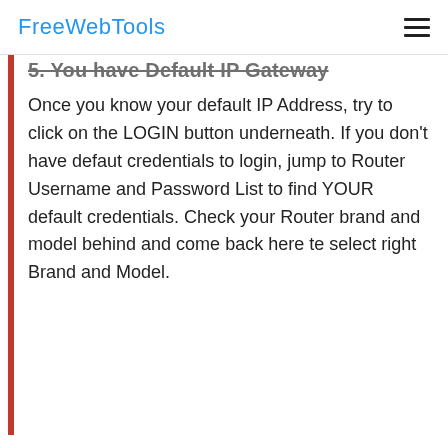FreeWebTools
5. You have Default IP Gateway
Once you know your default IP Address, try to click on the LOGIN button underneath. If you don't have defaut credentials to login, jump to Router Username and Password List to find YOUR default credentials. Check your Router brand and model behind and come back here te select right Brand and Model.